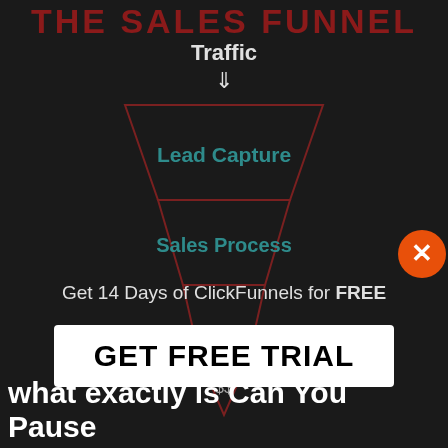THE SALES FUNNEL
[Figure (infographic): Sales funnel diagram with inverted triangle shape showing Traffic at top with down arrow, then Lead Capture section (teal text), then Sales Process section (teal text), then partially obscured lower sections with $$ label at bottom, drawn with dark red outlines on dark background]
Get 14 Days of ClickFunnels for FREE
GET FREE TRIAL
$$
what exactly is Can You Pause